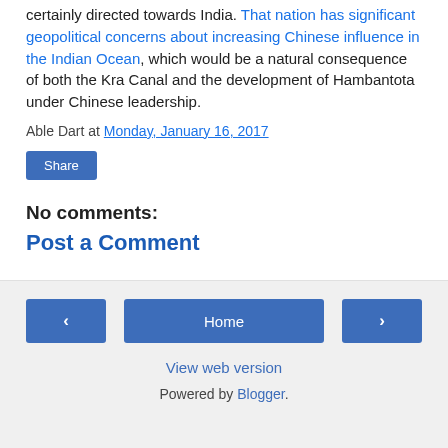certainly directed towards India. That nation has significant geopolitical concerns about increasing Chinese influence in the Indian Ocean, which would be a natural consequence of both the Kra Canal and the development of Hambantota under Chinese leadership.
Able Dart at Monday, January 16, 2017
Share
No comments:
Post a Comment
‹  Home  ›  View web version  Powered by Blogger.